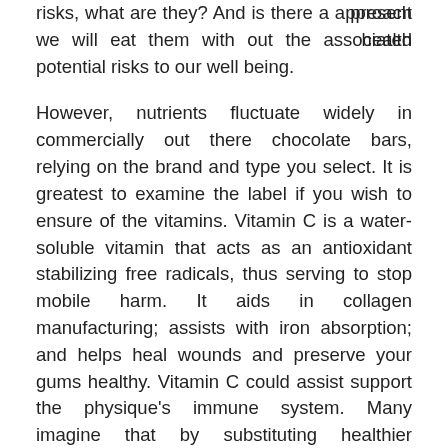present health risks, what are they? And is there a approach we will eat them with out the associated potential risks to our well being.
However, nutrients fluctuate widely in commercially out there chocolate bars, relying on the brand and type you select. It is greatest to examine the label if you wish to ensure of the vitamins. Vitamin C is a water-soluble vitamin that acts as an antioxidant stabilizing free radicals, thus serving to stop mobile harm. It aids in collagen manufacturing; assists with iron absorption; and helps heal wounds and preserve your gums healthy. Vitamin C could assist support the physique's immune system. Many imagine that by substituting healthier accompaniments, they will freely get pleasure from espresso without the associated health risks – e.g. substituting full-fat milk/cream with non-fats varieties or utilizing synthetic sweeteners as a substitute of sugar.